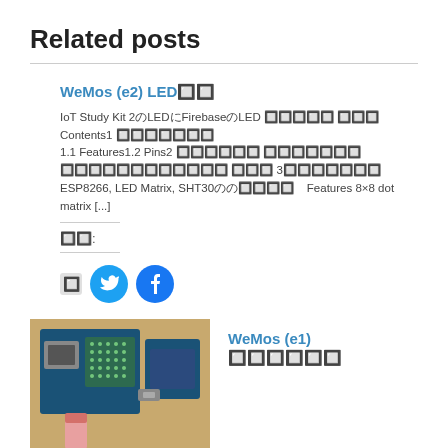Related posts
WeMos (e2) LED🔲🔲
IoT Study Kit 2のLEDにFirebaseのLED 🔲🔲🔲🔲🔲 🔲🔲🔲 Contents1 🔲🔲🔲🔲🔲🔲🔲 1.1 Features1.2 Pins2 🔲🔲🔲🔲🔲🔲 🔲🔲🔲🔲🔲🔲🔲 🔲🔲🔲🔲🔲🔲🔲🔲🔲🔲🔲🔲 🔲🔲🔲 3🔲🔲🔲🔲🔲🔲🔲 ESP8266, LED Matrix, SHT30のの🔲🔲🔲🔲   Features 8×8 dot matrix [...]
🔲🔲:
[Figure (illustration): Share buttons: a small gray icon, a blue Twitter circle button, and a blue Facebook circle button]
[Figure (photo): Photo of WeMos LED matrix board with ESP8266 and red USB cable on wooden surface]
WeMos (e1) 🔲🔲🔲🔲🔲🔲